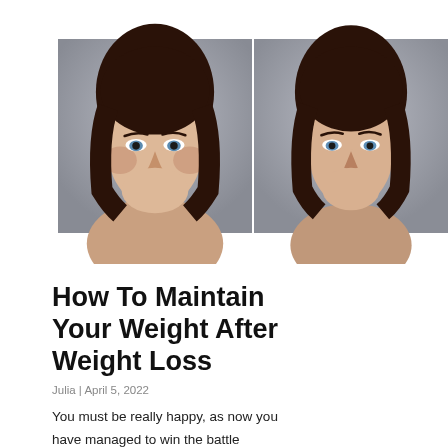[Figure (photo): Two side-by-side before-and-after portrait photos of a woman with dark hair, showing face/neck area against a neutral gray background. The left image shows a fuller face; the right image shows a slimmer face after weight loss.]
How To Maintain Your Weight After Weight Loss
Julia | April 5, 2022
You must be really happy, as now you have managed to win the battle against weight loss. But that doesn't mean that you can sit back and relax. You need to maintain your new fit and